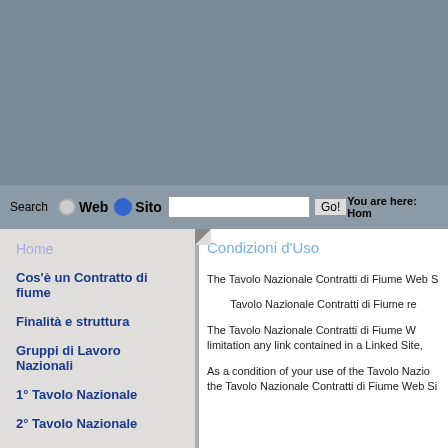Search  Web  Sito  [input]  Go!  You are here: Home
Home
Cos'è un Contratto di fiume
Finalità e struttura
Gruppi di Lavoro Nazionali
1° Tavolo Nazionale
2° Tavolo Nazionale
3° Tavolo Nazionale
4° Tavolo Nazionale
5°Tavolo Nazionale
6° Tavolo Nazionale
7° Tavolo Nazionale
8° Tavolo Nazionale
Mappa fiumi Tavolo
Condizioni d'Uso
The Tavolo Nazionale Contratti di Fiume Web S...
Tavolo Nazionale Contratti di Fiume re...
The Tavolo Nazionale Contratti di Fiume W... limitation any link contained in a Linked Site...
As a condition of your use of the Tavolo Nazio... the Tavolo Nazionale Contratti di Fiume Web Si...